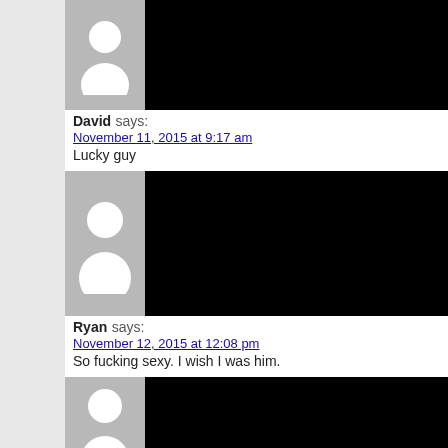[Figure (illustration): Default user avatar (silhouette) on grey background with black area to the right, first comment block]
David says:
November 11, 2015 at 9:17 am
Lucky guy
[Figure (illustration): Default user avatar (silhouette) on grey background with black area to the right, second comment block]
Ryan says:
November 12, 2015 at 12:08 pm
So fucking sexy. I wish I was him.
[Figure (illustration): Default user avatar (silhouette) on grey background with black area to the right, third comment block]